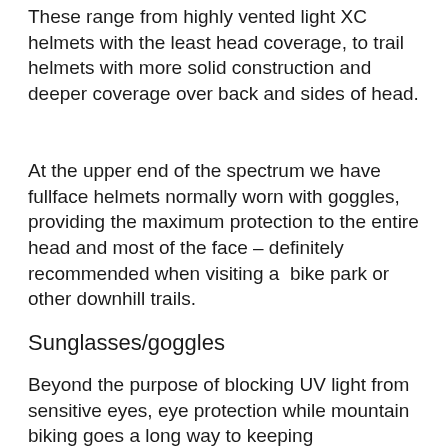These range from highly vented light XC helmets with the least head coverage, to trail helmets with more solid construction and deeper coverage over back and sides of head.
At the upper end of the spectrum we have fullface helmets normally worn with goggles, providing the maximum protection to the entire head and most of the face – definitely recommended when visiting a  bike park or other downhill trails.
Sunglasses/goggles
Beyond the purpose of blocking UV light from sensitive eyes, eye protection while mountain biking goes a long way to keeping